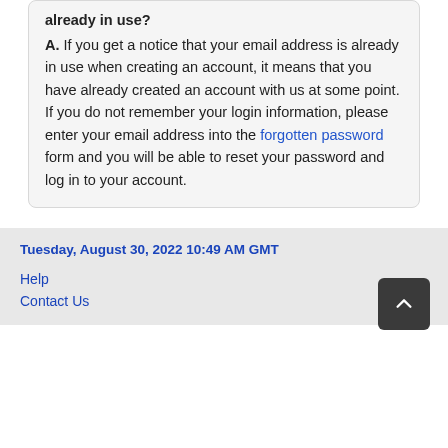already in use? A. If you get a notice that your email address is already in use when creating an account, it means that you have already created an account with us at some point. If you do not remember your login information, please enter your email address into the forgotten password form and you will be able to reset your password and log in to your account.
Tuesday, August 30, 2022 10:49 AM GMT
Help
Contact Us